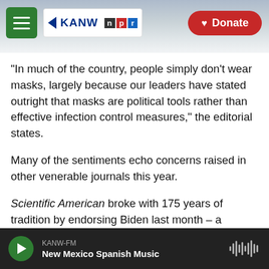[Figure (screenshot): KANW NPR radio website header with hamburger menu, KANW NPR logo, mountain background, and red Donate button]
"In much of the country, people simply don't wear masks, largely because our leaders have stated outright that masks are political tools rather than effective infection control measures," the editorial states.
Many of the sentiments echo concerns raised in other venerable journals this year.
Scientific American broke with 175 years of tradition by endorsing Biden last month – a decision that was both unanimous and quick, Editor-in-Chief Laura Helmuth told NPR. And The
[Figure (screenshot): Audio player bar at bottom: KANW-FM, New Mexico Spanish Music, with green play button and waveform icon]